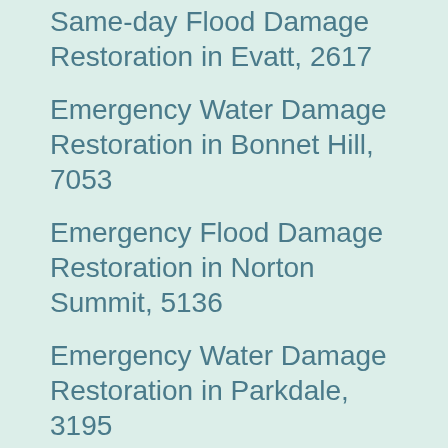Same-day Flood Damage Restoration in Evatt, 2617
Emergency Water Damage Restoration in Bonnet Hill, 7053
Emergency Flood Damage Restoration in Norton Summit, 5136
Emergency Water Damage Restoration in Parkdale, 3195
Same-day Flood Damage Restoration in Wooroloo, 6558
Emergency Flood Damage Restoration in Kiar, 6358